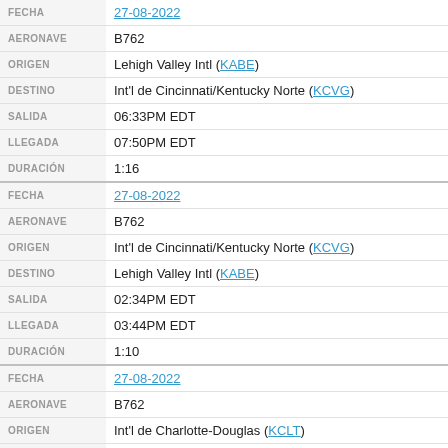| Field | Value |
| --- | --- |
| FECHA | 27-08-2022 |
| AERONAVE | B762 |
| ORIGEN | Lehigh Valley Intl (KABE) |
| DESTINO | Int'l de Cincinnati/Kentucky Norte (KCVG) |
| SALIDA | 06:33PM EDT |
| LLEGADA | 07:50PM EDT |
| DURACIÓN | 1:16 |
| FECHA | 27-08-2022 |
| AERONAVE | B762 |
| ORIGEN | Int'l de Cincinnati/Kentucky Norte (KCVG) |
| DESTINO | Lehigh Valley Intl (KABE) |
| SALIDA | 02:34PM EDT |
| LLEGADA | 03:44PM EDT |
| DURACIÓN | 1:10 |
| FECHA | 27-08-2022 |
| AERONAVE | B762 |
| ORIGEN | Int'l de Charlotte-Douglas (KCLT) |
| DESTINO | Int'l de Cincinnati/Kentucky Norte (KCVG) |
| SALIDA | 04:27AM EDT |
| LLEGADA | 05:23AM EDT |
| DURACIÓN | 0:55 |